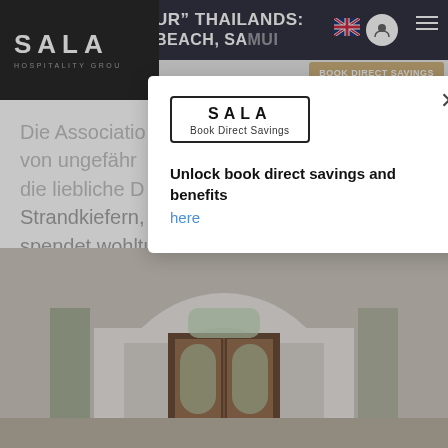"UR" THAILANDS: BEACH, SAMUI
[Figure (logo): SALA Hospitality Group logo — white text on black background]
Die Assoziation von ungefähr die liebliche L Strandkiefern, Pinien und Laubbäumen spendet wohltuenden Schatten, und die vorgelagerten winzigen Inseln laden zum entdecken und schnorcheln ein.
[Figure (other): SALA Book Direct Savings modal dialog with close button, SALA logo in bordered box, text 'Unlock book direct savings and benefits here' with 'here' as a blue hyperlink]
[Figure (photo): Interior room photo showing arched doorway with wooden double doors and arched window, white walls]